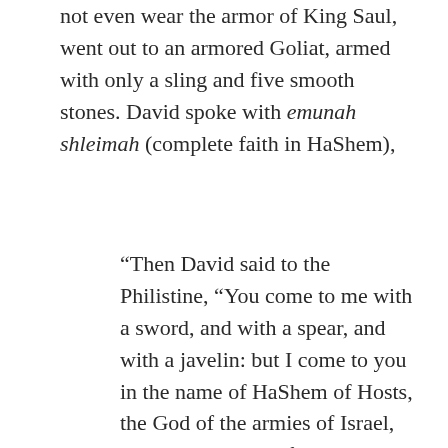not even wear the armor of King Saul, went out to an armored Goliat, armed with only a sling and five smooth stones. David spoke with emunah shleimah (complete faith in HaShem),
“Then David said to the Philistine, “You come to me with a sword, and with a spear, and with a javelin: but I come to you in the name of HaShem of Hosts, the God of the armies of Israel, whom you have defied. Today, HaShem will deliver you into my hand. I will strike